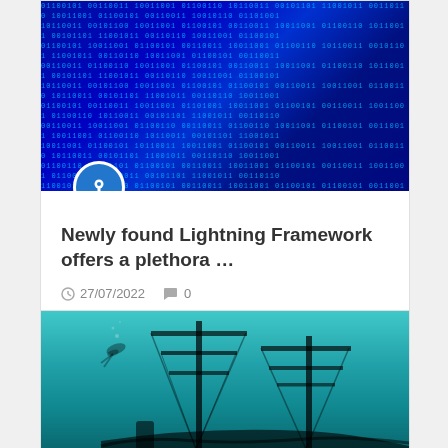[Figure (photo): Blue binary code matrix digital background photo]
Newly found Lightning Framework offers a plethora …
27/07/2022  0
[Figure (photo): Underwater scene with shipwreck and diver in teal/blue water]